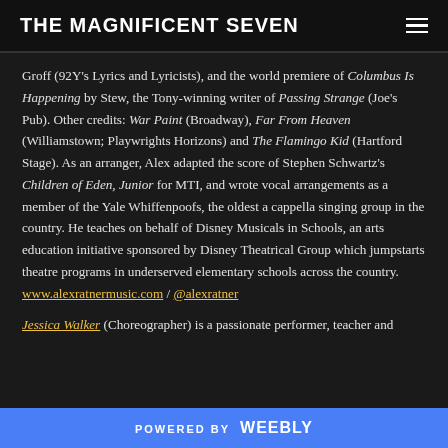THE MAGNIFICENT SEVEN
Groff (92Y's Lyrics and Lyricists), and the world premiere of Columbus Is Happening by Stew, the Tony-winning writer of Passing Strange (Joe's Pub). Other credits: War Paint (Broadway), Far From Heaven (Williamstown; Playwrights Horizons) and The Flamingo Kid (Hartford Stage). As an arranger, Alex adapted the score of Stephen Schwartz's Children of Eden, Junior for MTI, and wrote vocal arrangements as a member of the Yale Whiffenpoofs, the oldest a cappella singing group in the country. He teaches on behalf of Disney Musicals in Schools, an arts education initiative sponsored by Disney Theatrical Group which jumpstarts theatre programs in underserved elementary schools across the country. www.alexratnermusic.com / @alexratner
Jessica Walker (Choreographer) is a passionate performer, teacher and
POWERED BY WEEBLY